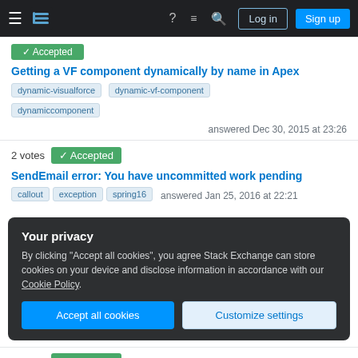Navigation bar with hamburger menu, logo, help, chat, search icons, Log in and Sign up buttons
Getting a VF component dynamically by name in Apex
Tags: dynamic-visualforce, dynamic-vf-component, dynamiccomponent
answered Dec 30, 2015 at 23:26
2 votes  Accepted
SendEmail error: You have uncommitted work pending
Tags: callout, exception, spring16  answered Jan 25, 2016 at 22:21
Your privacy
By clicking "Accept all cookies", you agree Stack Exchange can store cookies on your device and disclose information in accordance with our Cookie Policy.
Accept all cookies   Customize settings
2 votes  Accepted